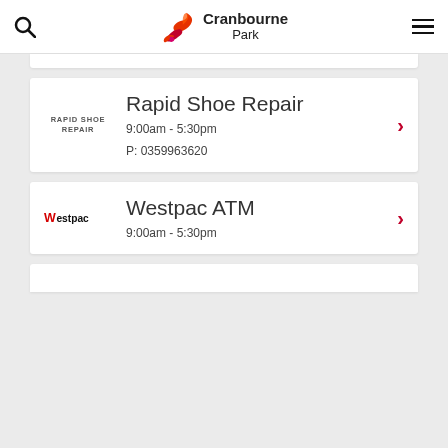Cranbourne Park
[Figure (logo): Rapid Shoe Repair store logo text]
Rapid Shoe Repair
9:00am - 5:30pm
P: 0359963620
[Figure (logo): Westpac bank logo]
Westpac ATM
9:00am - 5:30pm